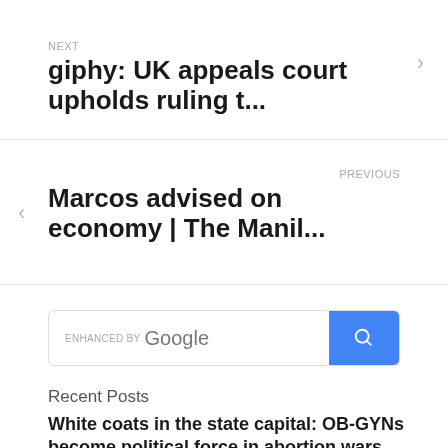NEXT
giphy: UK appeals court upholds ruling t...
PREVIOUS
Marcos advised on economy | The Manil...
[Figure (screenshot): Google search box with 'ENHANCED BY Google' label and a blue search button with magnifying glass icon]
Recent Posts
White coats in the state capital: OB-GYNs become political force in abortion wars